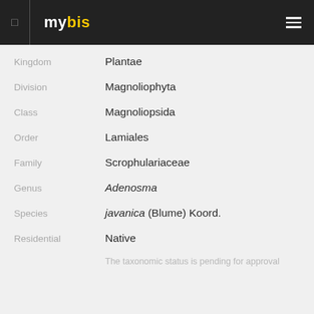mybis
| Label | Value |
| --- | --- |
| Kingdom | Plantae |
| Division | Magnoliophyta |
| Class | Magnoliopsida |
| Order | Lamiales |
| Family | Scrophulariaceae |
| Genus | Adenosma |
| Species | javanica (Blume) Koord. |
| Residential | Native |
The taxonomic status is pending for approval